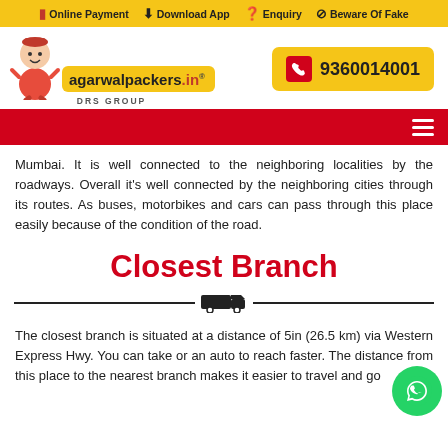Online Payment  Download App  Enquiry  Beware Of Fake
[Figure (logo): Agarwal Packers logo with mascot character, yellow background text 'agarwalpackers.in', DRS GROUP subtitle, phone number 9360014001]
Navigation bar with hamburger menu
Mumbai. It is well connected to the neighboring localities by the roadways. Overall it's well connected by the neighboring cities through its routes. As buses, motorbikes and cars can pass through this place easily because of the condition of the road.
Closest Branch
The closest branch is situated at a distance of 5... in (26.5 km) via Western Express Hwy. You can take... or an auto to reach faster. The distance from this place to the nearest branch makes it easier to travel and go